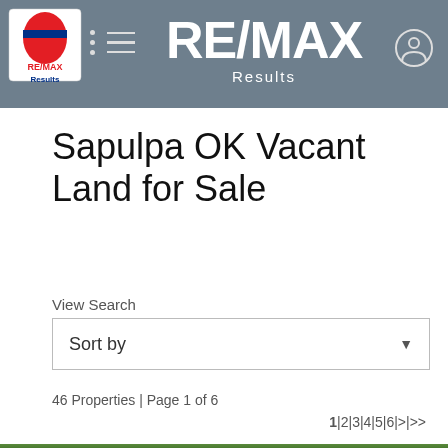RE/MAX Results
Sapulpa OK Vacant Land for Sale
View Search
Sort by
46 Properties | Page 1 of 6
1|2|3|4|5|6|>|>>
[Figure (photo): Outdoor photo showing trees with green foliage against a partly cloudy blue sky]